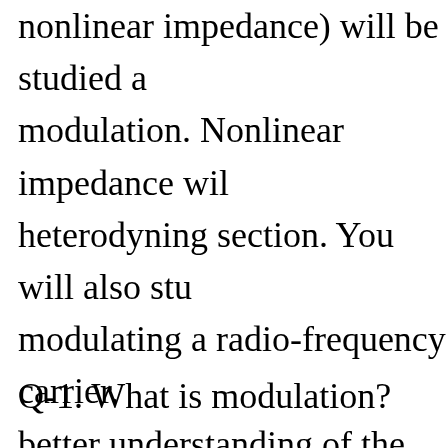nonlinear impedance) will be studied a modulation. Nonlinear impedance wil heterodyning section. You will also stu modulating a radio-frequency carrier. better understanding of the demodulat studying the various circuits used to d carrier.
Q-1. What is modulation?